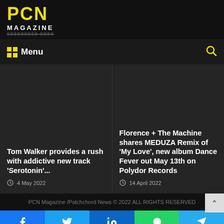PCN MAGAZINE
Menu
Tom Walker provides a rush with addictive new track 'Serotonin'...
4 May 2022
Florence + The Machine shares MEDUZA Remix of 'My Love', new album Dance Fever out May 13th on Polydor Records
14 April 2022
PCN Magazine /Patchchord News © 2022 ALL RIGHTS RESERVED